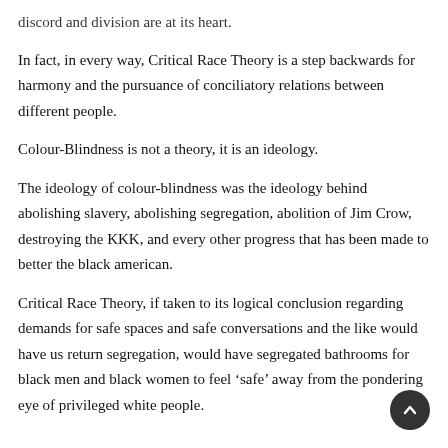discord and division are at its heart.
In fact, in every way, Critical Race Theory is a step backwards for harmony and the pursuance of conciliatory relations between different people.
Colour-Blindness is not a theory, it is an ideology.
The ideology of colour-blindness was the ideology behind abolishing slavery, abolishing segregation, abolition of Jim Crow, destroying the KKK, and every other progress that has been made to better the black american.
Critical Race Theory, if taken to its logical conclusion regarding demands for safe spaces and safe conversations and the like would have us return segregation, would have segregated bathrooms for black men and black women to feel ‘safe’ away from the pondering eye of privileged white people.